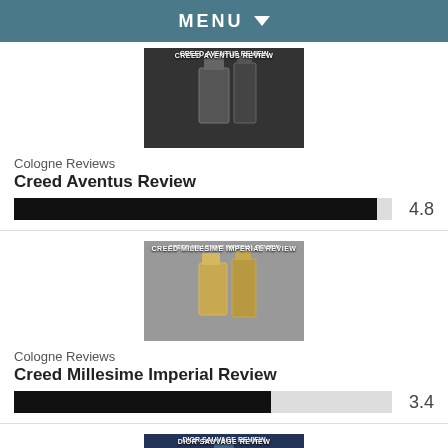MENU
[Figure (photo): Creed Aventus cologne bottle product image with text CREED AVENTUS REVIEW]
Cologne Reviews
Creed Aventus Review
[Figure (bar-chart): Rating bar 4.8/5]
[Figure (photo): Creed Millesime Imperial cologne bottle product image with text CREED MILLESIME IMPERIAL REVIEW]
Cologne Reviews
Creed Millesime Imperial Review
[Figure (bar-chart): Rating bar 3.4/5]
[Figure (photo): Dior Sauvage cologne bottle product image with text DIOR SAUVAGE REVIEW]
Cologne Reviews
Dior Sauvage